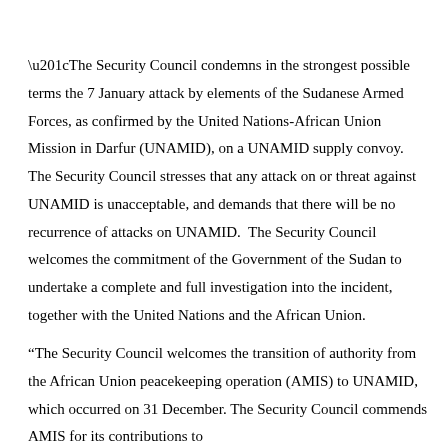“The Security Council condemns in the strongest possible terms the 7 January attack by elements of the Sudanese Armed Forces, as confirmed by the United Nations-African Union Mission in Darfur (UNAMID), on a UNAMID supply convoy.  The Security Council stresses that any attack on or threat against UNAMID is unacceptable, and demands that there will be no recurrence of attacks on UNAMID.  The Security Council welcomes the commitment of the Government of the Sudan to undertake a complete and full investigation into the incident, together with the United Nations and the African Union.
“The Security Council welcomes the transition of authority from the African Union peacekeeping operation (AMIS) to UNAMID, which occurred on 31 December. The Security Council commends AMIS for its contributions to...